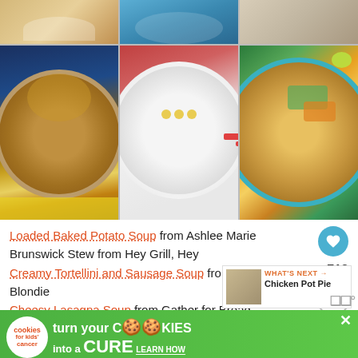[Figure (photo): 3x2 grid of food/soup photos showing various bowls of soups and stews]
Loaded Baked Potato Soup from Ashlee Marie
Brunswick Stew from Hey Grill, Hey
Creamy Tortellini and Sausage Soup from Baking with Blondie
Cheesy Lasagna Soup from Gather for Bread
Chicken Pot Pie Soup from Creations by Kara
[Figure (infographic): WHAT'S NEXT banner showing Chicken Pot Pie thumbnail]
[Figure (infographic): Advertisement banner: cookies for kids cancer - turn your cookies into a CURE LEARN HOW]